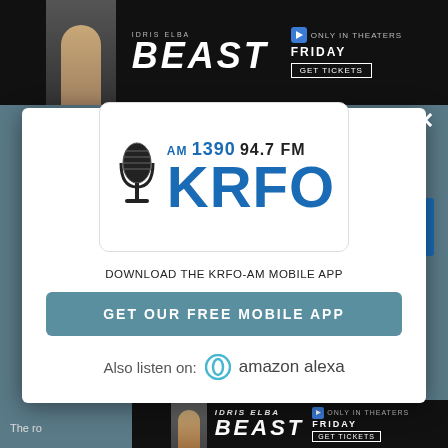[Figure (screenshot): Advertisement banner at top for movie 'Beast' starring Idris Elba, showing 'Only in Theaters Friday - Get Tickets']
[Figure (logo): KRFO radio station logo: AM 1390 94.7 FM KRFO with microphone graphic, inside white rounded box modal overlay]
DOWNLOAD THE KRFO-AM MOBILE APP
GET OUR FREE MOBILE APP
Also listen on: amazon alexa
[Figure (screenshot): Advertisement banner at bottom for movie 'Beast' starring Idris Elba, showing 'Only in Theaters Friday - Get Tickets']
The ro